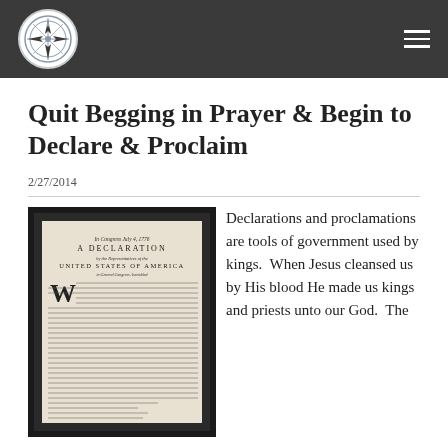Quit Begging in Prayer & Begin to Declare & Proclaim
2/27/2014
[Figure (photo): Framed photograph of the Declaration of Independence document, showing text including 'In Congress July 4, 1776 A Declaration by the Representatives of the United States of America in General Congress Assembled']
Declarations and proclamations are tools of government used by kings.  When Jesus cleansed us by His blood He made us kings and priests unto our God.  The